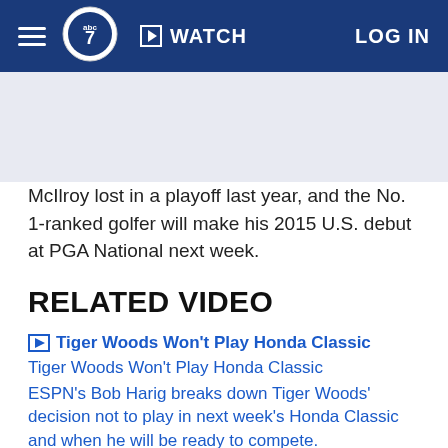abc7 | WATCH | LOG IN
McIlroy lost in a playoff last year, and the No. 1-ranked golfer will make his 2015 U.S. debut at PGA National next week.
RELATED VIDEO
Tiger Woods Won't Play Honda Classic
Tiger Woods Won't Play Honda Classic
ESPN's Bob Harig breaks down Tiger Woods' decision not to play in next week's Honda Classic and when he will be ready to compete.